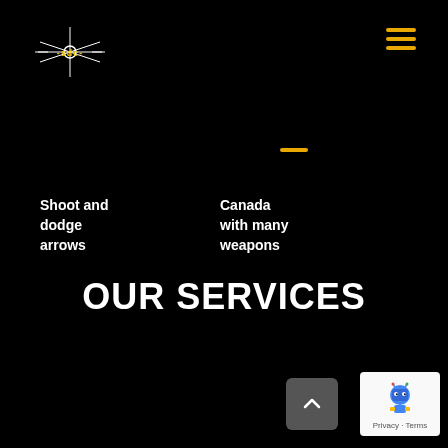[Figure (logo): SDC logo with star/crosshair and text '-sdc-' on black background]
[Figure (other): Hamburger menu icon with three horizontal yellow-orange lines]
Shoot and dodge arrows
[Figure (illustration): Yellow crescent/half-circle shape facing left]
Canada with many weapons
[Figure (illustration): Yellow crescent/half-circle shape facing left]
OUR SERVICES
[Figure (other): Back to top button - dark gray rounded square with upward chevron]
[Figure (other): Google reCAPTCHA badge with blue robot icon and Privacy - Terms text]